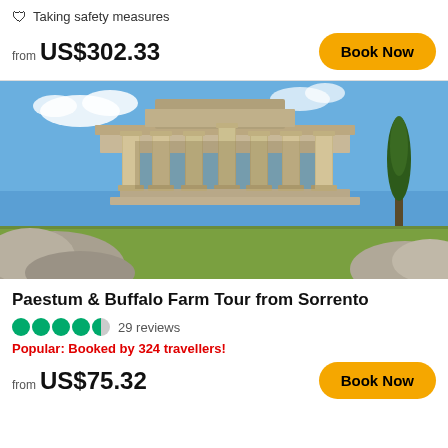🛡 Taking safety measures
from US$302.33
Book Now
[Figure (photo): Ancient Greek/Roman temple ruins at Paestum with tall stone columns under a blue sky, with rocks and cypress trees in the foreground]
Paestum & Buffalo Farm Tour from Sorrento
29 reviews
Popular: Booked by 324 travellers!
from US$75.32
Book Now